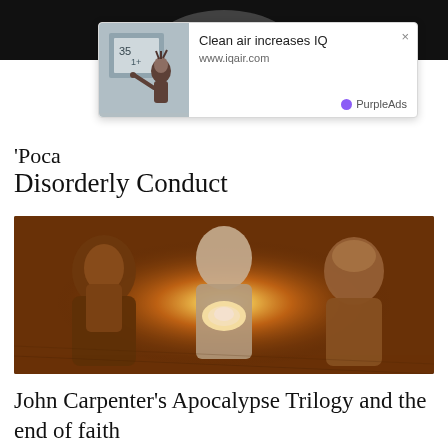[Figure (photo): Dark top strip, partial face visible at top of page]
[Figure (screenshot): Advertisement overlay: image of a girl at a whiteboard, headline 'Clean air increases IQ', URL 'www.iqair.com', brand 'PurpleAds', close X button]
'Poca… Disorderly Conduct
[Figure (photo): Movie still from John Carpenter film: three figures in heavy winter/post-apocalyptic gear huddled around a bright glowing light source in a dark wooden interior, warm orange-brown tones]
John Carpenter's Apocalypse Trilogy and the end of faith